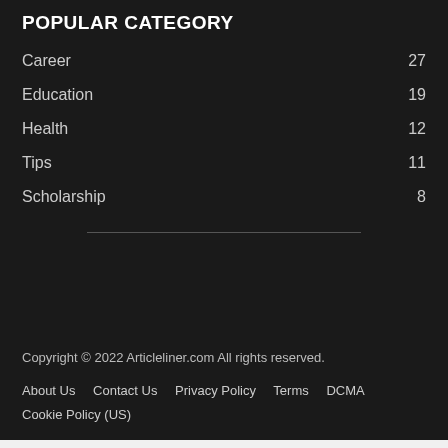POPULAR CATEGORY
Career 27
Education 19
Health 12
Tips 11
Scholarship 8
Copyright © 2022 Articleliner.com All rights reserved.
About Us   Contact Us   Privacy Policy   Terms   DCMA   Cookie Policy (US)